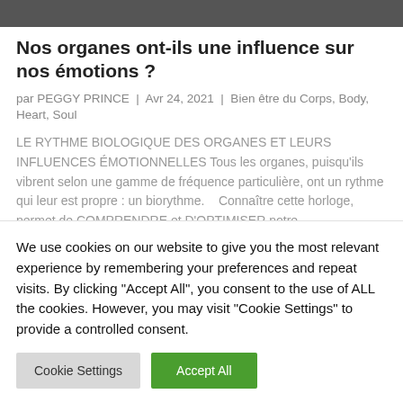[Figure (photo): Partial image strip at top of page, dark/muted tones]
Nos organes ont-ils une influence sur nos émotions ?
par PEGGY PRINCE | Avr 24, 2021 | Bien être du Corps, Body, Heart, Soul
LE RYTHME BIOLOGIQUE DES ORGANES ET LEURS INFLUENCES ÉMOTIONNELLES Tous les organes, puisqu'ils vibrent selon une gamme de fréquence particulière, ont un rythme qui leur est propre : un biorythme.   Connaître cette horloge, permet de COMPRENDRE et D'OPTIMISER notre
We use cookies on our website to give you the most relevant experience by remembering your preferences and repeat visits. By clicking "Accept All", you consent to the use of ALL the cookies. However, you may visit "Cookie Settings" to provide a controlled consent.
Cookie Settings | Accept All